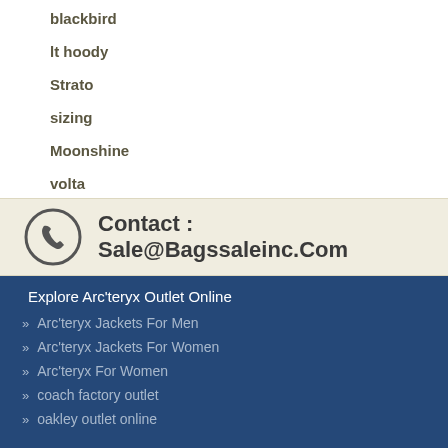blackbird
lt hoody
Strato
sizing
Moonshine
volta
Contact : Sale@Bagssaleinc.Com
Explore Arc'teryx Outlet Online
Arc'teryx Jackets For Men
Arc'teryx Jackets For Women
Arc'teryx For Women
coach factory outlet
oakley outlet online